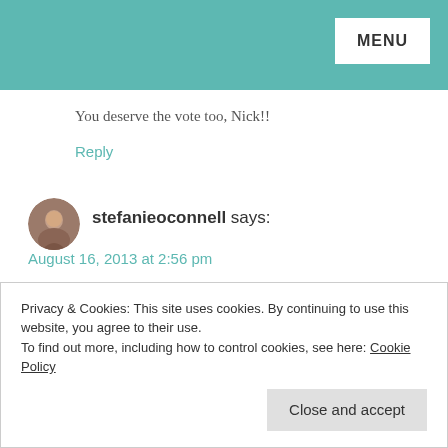MENU
You deserve the vote too, Nick!!
Reply
stefanieoconnell says:
August 16, 2013 at 2:56 pm
Yes! Being known as the “frugal one” or “the scavenger” definitely has its benefits. People always offer me their extras and leftovers first. LOVE it!
Reply
Privacy & Cookies: This site uses cookies. By continuing to use this website, you agree to their use.
To find out more, including how to control cookies, see here: Cookie Policy
Close and accept